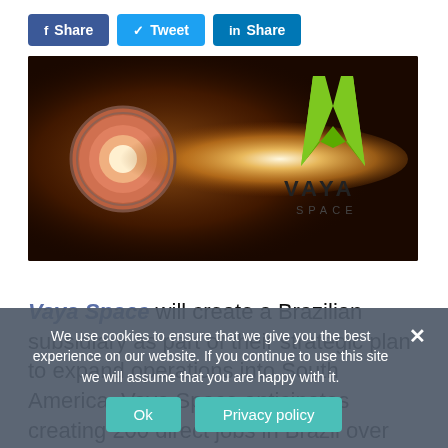[Figure (other): Three social media share buttons: Facebook Share (blue), Twitter Tweet (light blue), LinkedIn Share (dark blue)]
[Figure (photo): Rocket engine firing with orange/yellow flame glow, with VAYA SPACE logo (green V-shape and text) overlaid on dark background]
Vaya Space will create a Brazilian subsidiary as part of their strategic plan to expand operations into South America. Vaya Space anticipates creating 200 direct jobs in Brazil over the next two- ... footprint of approximately 10,000 square meters.
We use cookies to ensure that we give you the best experience on our website. If you continue to use this site we will assume that you are happy with it.
Ok  Privacy policy